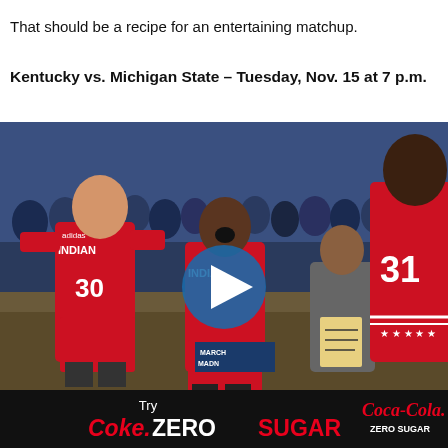That should be a recipe for an entertaining matchup.
Kentucky vs. Michigan State – Tuesday, Nov. 15 at 7 p.m.
[Figure (photo): Indiana basketball players celebrating on the bench during March Madness, wearing red uniforms. Player #30 and #31 visible. A coach stands nearby. A blue play button overlay is centered on the image. Crowd visible in background.]
[Figure (infographic): Advertisement banner: black background with 'Try Coke Zero Sugar' text in white and red, and Coca-Cola Zero Sugar logo on the right.]